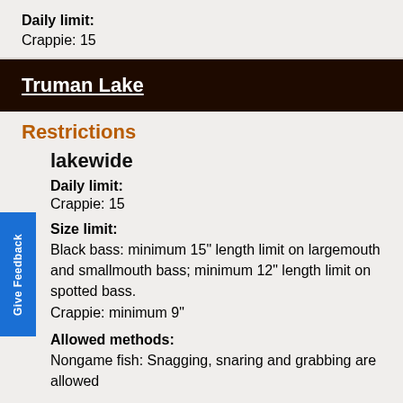Daily limit:
Crappie: 15
Truman Lake
Restrictions
Lakewide
Daily limit:
Crappie: 15
Size limit:
Black bass: minimum 15" length limit on largemouth and smallmouth bass; minimum 12" length limit on spotted bass.
Crappie: minimum 9"
Allowed methods:
Nongame fish: Snagging, snaring and grabbing are allowed